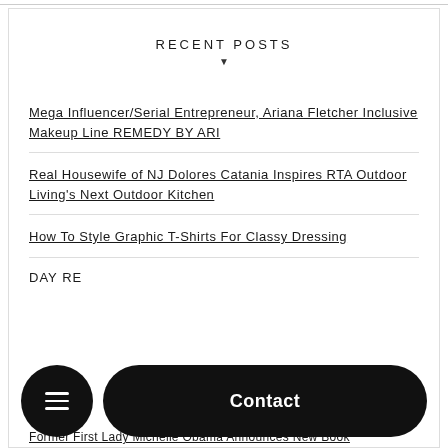RECENT POSTS
Mega Influencer/Serial Entrepreneur, Ariana Fletcher Inclusive Makeup Line REMEDY BY ARI
Real Housewife of NJ Dolores Catania Inspires RTA Outdoor Living's Next Outdoor Kitchen
How To Style Graphic T-Shirts For Classy Dressing
DAY RE...
Contact
Former First Lady Michelle Obama Announces New Book